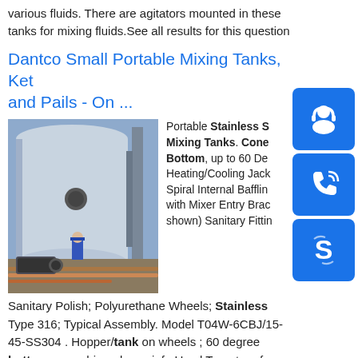various fluids. There are agitators mounted in these tanks for mixing fluids.See all results for this question
Dantco Small Portable Mixing Tanks, Ket and Pails - On ...
[Figure (photo): Industrial tank facility with a worker in blue protective gear standing near large stainless steel tanks and pipes outdoors.]
Portable Stainless Steel Mixing Tanks. Cone Bottom, up to 60 De Heating/Cooling Jack Spiral Internal Bafflin with Mixer Entry Brad shown) Sanitary Fittin Sanitary Polish; Polyurethane Wheels; Stainless Type 316; Typical Assembly. Model T04W-6CBJ/15-45-SS304 . Hopper/tank on wheels ; 60 degree bottom cone, hinged ...sp.info Used Transtore for sale. Custom Metalcraft Inc. equipment ...180 gallon Stainless Steel TranStore Tank. 4084. Manufacturer: TranStore; one(1) used 180 gallon Tran Store Tank. Mfgd. by Metalcraft Rated 180 gallon,